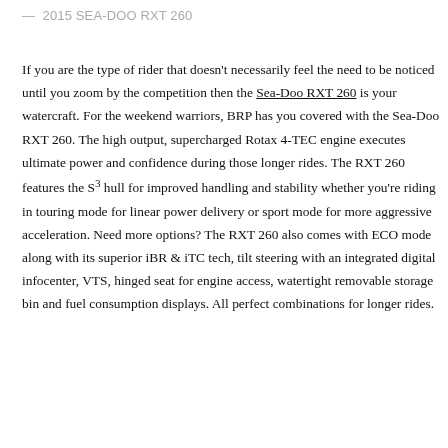— 2015 SEA-DOO RXT 260
If you are the type of rider that doesn't necessarily feel the need to be noticed until you zoom by the competition then the Sea-Doo RXT 260 is your watercraft. For the weekend warriors, BRP has you covered with the Sea-Doo RXT 260. The high output, supercharged Rotax 4-TEC engine executes ultimate power and confidence during those longer rides. The RXT 260 features the S³ hull for improved handling and stability whether you're riding in touring mode for linear power delivery or sport mode for more aggressive acceleration. Need more options? The RXT 260 also comes with ECO mode along with its superior iBR & iTC tech, tilt steering with an integrated digital infocenter, VTS, hinged seat for engine access, watertight removable storage bin and fuel consumption displays. All perfect combinations for longer rides.